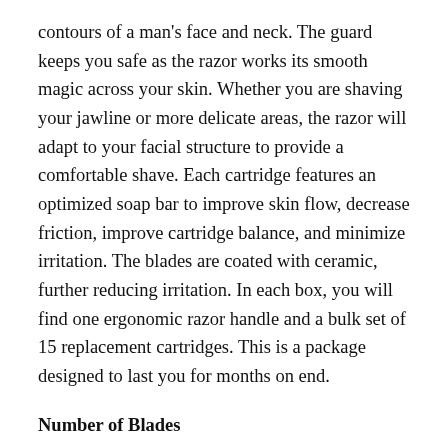contours of a man's face and neck. The guard keeps you safe as the razor works its smooth magic across your skin. Whether you are shaving your jawline or more delicate areas, the razor will adapt to your facial structure to provide a comfortable shave. Each cartridge features an optimized soap bar to improve skin flow, decrease friction, improve cartridge balance, and minimize irritation. The blades are coated with ceramic, further reducing irritation. In each box, you will find one ergonomic razor handle and a bulk set of 15 replacement cartridges. This is a package designed to last you for months on end.
Number of Blades
This razor by Personna has three blades, allowing it to strike the delicate balance between stroke efficiency and smoothness.